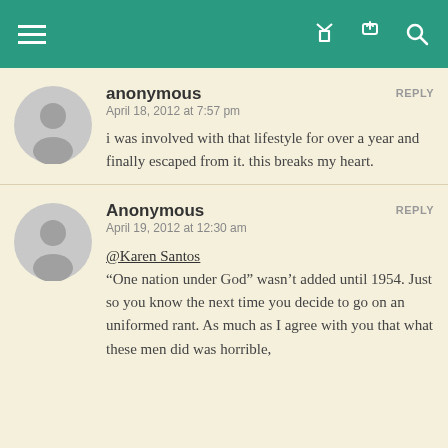Navigation bar with hamburger menu, share icon, and search icon
[Figure (illustration): Gray anonymous user avatar - circle with silhouette, first comment]
anonymous
April 18, 2012 at 7:57 pm
REPLY
i was involved with that lifestyle for over a year and finally escaped from it. this breaks my heart.
[Figure (illustration): Gray anonymous user avatar - circle with silhouette, second comment]
Anonymous
April 19, 2012 at 12:30 am
REPLY
@Karen Santos
“One nation under God” wasn’t added until 1954. Just so you know the next time you decide to go on an uniformed rant. As much as I agree with you that what these men did was horrible,